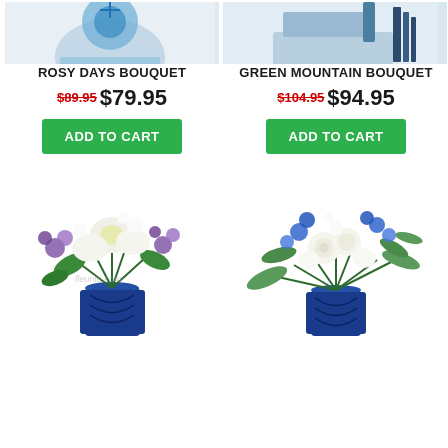[Figure (photo): Top portion of flower product image for Rosy Days Bouquet - blue vase with flowers cropped at top]
[Figure (photo): Top portion of flower product image for Green Mountain Bouquet - bouquet with ribbon cropped at top]
ROSY DAYS BOUQUET
GREEN MOUNTAIN BOUQUET
$89.95 $79.95
$104.95 $94.95
ADD TO CART
ADD TO CART
[Figure (photo): Flower bouquet with white lilies and purple flowers in a blue vase]
[Figure (photo): Flower bouquet with white roses and blue flowers in a blue vase]